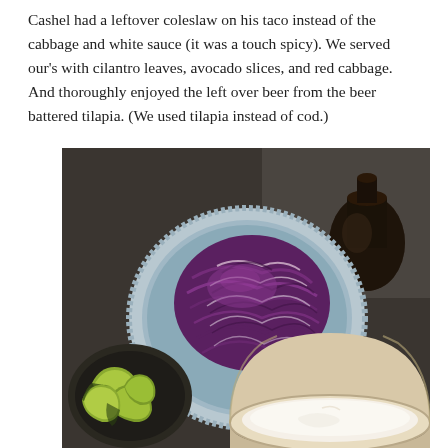Cashel had a leftover coleslaw on his taco instead of the cabbage and white sauce (it was a touch spicy). We served our's with cilantro leaves, avocado slices, and red cabbage. And thoroughly enjoyed the left over beer from the beer battered tilapia. (We used tilapia instead of cod.)
[Figure (photo): Overhead food photo on a dark surface showing: a decorative blue plate with shredded purple/red cabbage, a dark bowl with avocado slices in lower left, a large beige/cream bowl with white sauce in lower right, and a dark beer bottle in upper right.]